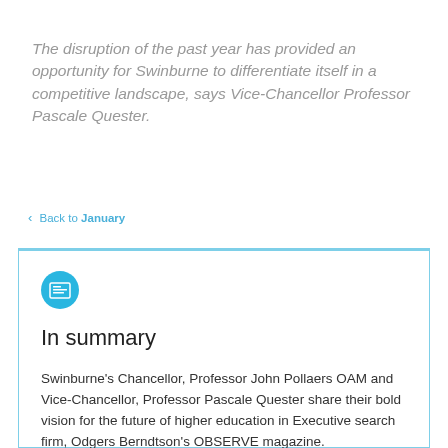The disruption of the past year has provided an opportunity for Swinburne to differentiate itself in a competitive landscape, says Vice-Chancellor Professor Pascale Quester.
< Back to January
In summary
Swinburne's Chancellor, Professor John Pollaers OAM and Vice-Chancellor, Professor Pascale Quester share their bold vision for the future of higher education in Executive search firm, Odgers Berndtson's OBSERVE magazine.